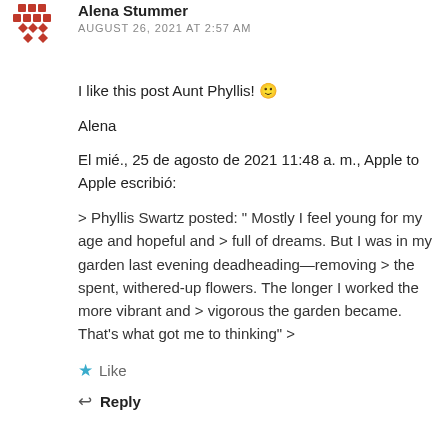[Figure (illustration): Red geometric/pixel art avatar icon with diamond and square shapes]
Alena Stummer
AUGUST 26, 2021 AT 2:57 AM
I like this post Aunt Phyllis! 🙂
Alena
El mié., 25 de agosto de 2021 11:48 a. m., Apple to Apple escribió:
> Phyllis Swartz posted: " Mostly I feel young for my age and hopeful and > full of dreams. But I was in my garden last evening deadheading—removing > the spent, withered-up flowers. The longer I worked the more vibrant and > vigorous the garden became. That's what got me to thinking" >
Like
Reply